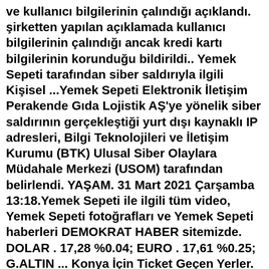ve kullanıcı bilgilerinin çalındığı açıklandı. şirketten yapılan açıklamada kullanıcı bilgilerinin çalındığı ancak kredi kartı bilgilerinin korunduğu bildirildi.. Yemek Sepeti tarafından siber saldırıyla ilgili Kişisel ...Yemek Sepeti Elektronik İletişim Perakende Gıda Lojistik AŞ'ye yönelik siber saldırının gerçekleştiği yurt dışı kaynaklı IP adresleri, Bilgi Teknolojileri ve İletişim Kurumu (BTK) Ulusal Siber Olaylara Müdahale Merkezi (USOM) tarafından belirlendi. YAŞAM. 31 Mart 2021 Çarşamba 13:18.Yemek Sepeti ile ilgili tüm video, Yemek Sepeti fotoğrafları ve Yemek Sepeti haberleri DEMOKRAT HABER sitemizde. DOLAR . 17,28 %0.04; EURO . 17,61 %0.25; G.ALTIN ... Konya İçin Ticket Geçen Yerler. Konya ilinin 31 ilçesinde bazı yerlerde Ticket yemek kartı kullanılabilmektedir. ... Yemek sepeti üzerinden sipariş vereceğiniz zaman restaurant kabul ediyorsa ödemede ticket kartı seçeneğini seçerek sipariş verebilirsiniz. Fakat siparişinizi telefonla verecekseniz restauranta sormanızda fayda var.Sepetteslim ile ister market ürünleri ister yemek siparisi ver. Dakikalar